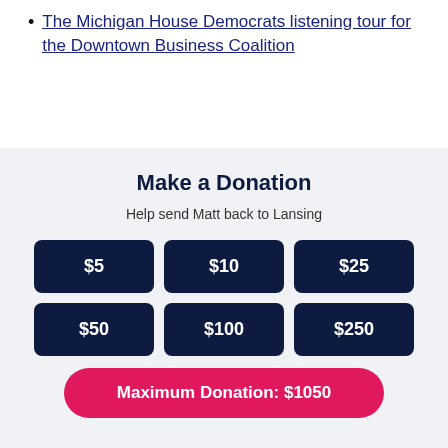The Michigan House Democrats listening tour for the Downtown Business Coalition
Make a Donation
Help send Matt back to Lansing
$5
$10
$25
$50
$100
$250
Maximum Donation: $1050